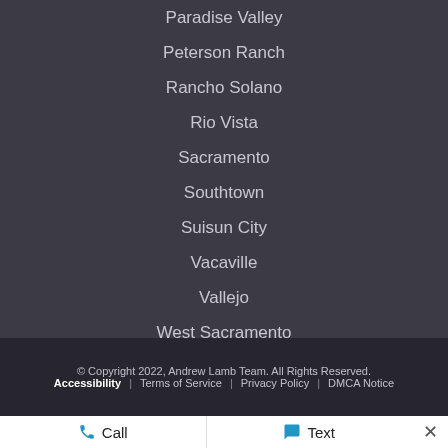Paradise Valley
Peterson Ranch
Rancho Solano
Rio Vista
Sacramento
Southtown
Suisun City
Vacaville
Vallejo
West Sacramento
Woodland
© Copyright 2022, Andrew Lamb Team. All Rights Reserved.
Accessibility | Terms of Service | Privacy Policy | DMCA Notice
Call  Text  ×